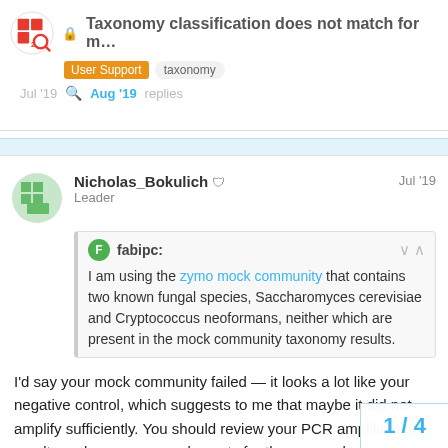Taxonomy classification does not match for m... | User Support | taxonomy
Jul '19  Aug '19  replies
Nicholas_Bokulich  Leader  Jul '19
fabipc: I am using the zymo mock community that contains two known fungal species, Saccharomyces cerevisiae and Cryptococcus neoformans, neither which are present in the mock community taxonomy results.
I'd say your mock community failed — it looks a lot like your negative control, which suggests to me that maybe it did not amplify sufficiently. You should review your PCR amplification results and sequence read counts for those samples.
Looking at your cutadapt results from a se like you do get plenty of reads in the mock
1 / 4